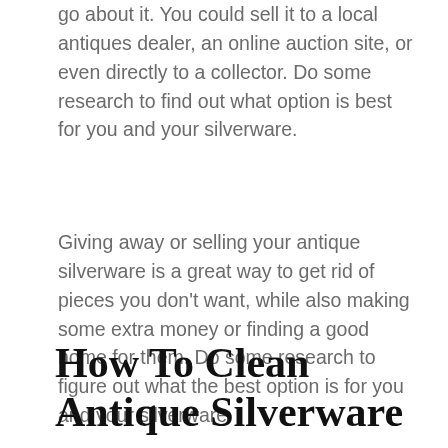go about it. You could sell it to a local antiques dealer, an online auction site, or even directly to a collector. Do some research to find out what option is best for you and your silverware.
Giving away or selling your antique silverware is a great way to get rid of pieces you don't want, while also making some extra money or finding a good home for them. Do some research to figure out what the best option is for you and your silverware.
How To Clean Antique Silverware